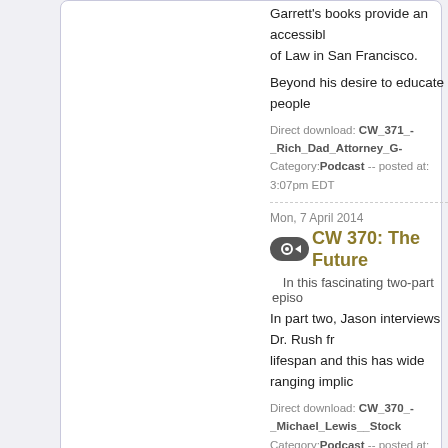Garrett's books provide an accessible... of Law in San Francisco.
Beyond his desire to educate people...
Direct download: CW_371_-_Rich_Dad_Attorney_G-
Category:Podcast -- posted at: 3:07pm EDT
Mon, 7 April 2014
CW 370: The Future...
In this fascinating two-part episo...
In part two, Jason interviews Dr. Rush fr... lispan and this has wide ranging implic...
Direct download: CW_370_-_Michael_Lewis__Stock
Category:Podcast -- posted at: 6:14pm EDT